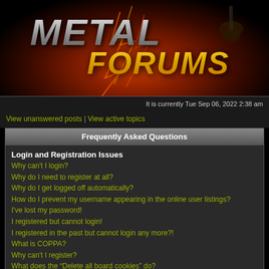[Figure (logo): Metal Forums logo banner with metallic silver 'METAL' text and golden 'FORUMS' text on a dark background with orange/red lightning bolt glow effects and a guitar silhouette]
It is currently Tue Sep 06, 2022 2:38 am
View unanswered posts | View active topics
Frequently Asked Questions
Login and Registration Issues
Why can't I login?
Why do I need to register at all?
Why do I get logged off automatically?
How do I prevent my username appearing in the online user listings?
I've lost my password!
I registered but cannot login!
I registered in the past but cannot login any more?!
What is COPPA?
Why can't I register?
What does the "Delete all board cookies" do?
User Preferences and settings
How do I change my settings?